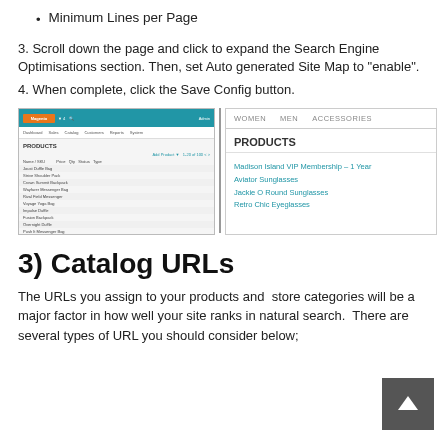Minimum Lines per Page
3. Scroll down the page and click to expand the Search Engine Optimisations section. Then, set Auto generated Site Map to "enable".
4. When complete, click the Save Config button.
[Figure (screenshot): Two side-by-side screenshots: left shows a Magento admin Products grid interface, right shows a storefront page with navigation (WOMEN, MEN, ACCESSORIES) and a PRODUCTS section listing Madison Island VIP Membership - 1 Year, Aviator Sunglasses, Jackie O Round Sunglasses, Retro Chic Eyeglasses.]
3) Catalog URLs
The URLs you assign to your products and  store categories will be a major factor in how well your site ranks in natural search.  There are several types of URL you should consider below;